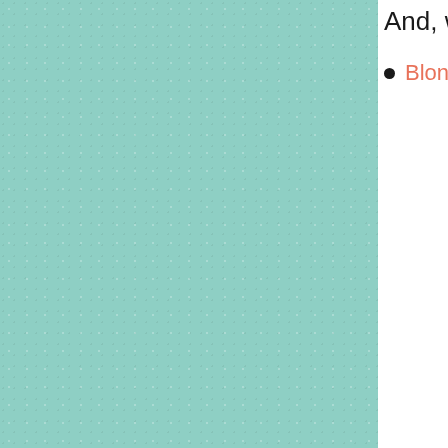And, we both had a few honora
Blondie Mommy
[Figure (photo): A baby or young child with light-colored hair photographed against a light blue background, partially cropped]